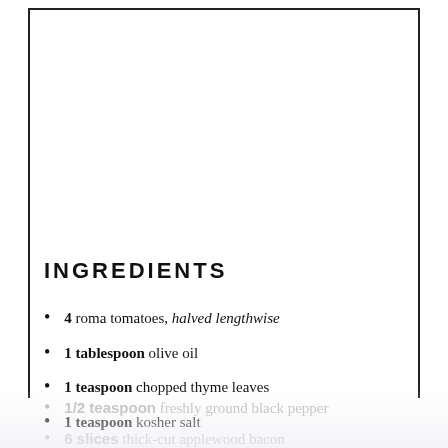INGREDIENTS
4 roma tomatoes, halved lengthwise
1 tablespoon olive oil
1 teaspoon chopped thyme leaves
1 teaspoon kosher salt
1/2 teaspoon freshly ground black pepper
6 slices thick-cut applewood bacon